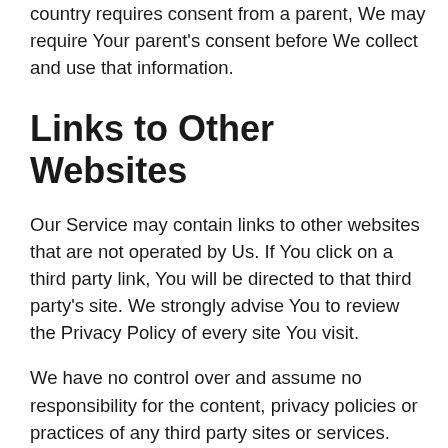country requires consent from a parent, We may require Your parent's consent before We collect and use that information.
Links to Other Websites
Our Service may contain links to other websites that are not operated by Us. If You click on a third party link, You will be directed to that third party's site. We strongly advise You to review the Privacy Policy of every site You visit.
We have no control over and assume no responsibility for the content, privacy policies or practices of any third party sites or services.